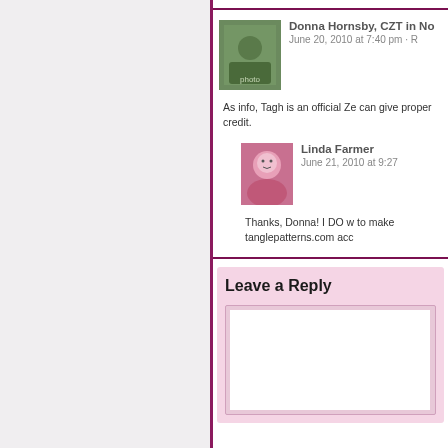Donna Hornsby, CZT in No
June 20, 2010 at 7:40 pm · R
As info, Tagh is an official Ze can give proper credit.
Linda Farmer
June 21, 2010 at 9:27
Thanks, Donna! I DO w to make tanglepatterns.com acc
Leave a Reply